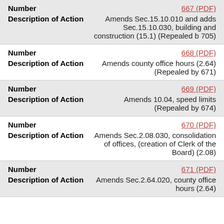| Number | Link | Description of Action | Text |
| --- | --- | --- | --- |
| Number | 667 (PDF) | Description of Action | Amends Sec.15.10.010 and adds Sec.15.10.030, building and construction (15.1) (Repealed b 705) |
| Number | 668 (PDF) | Description of Action | Amends county office hours (2.64) (Repealed by 671) |
| Number | 669 (PDF) | Description of Action | Amends 10.04, speed limits (Repealed by 674) |
| Number | 670 (PDF) | Description of Action | Amends Sec.2.08.030, consolidation of offices, (creation of Clerk of the Board) (2.08) |
| Number | 671 (PDF) | Description of Action | Amends Sec.2.64.020, county office hours (2.64) |